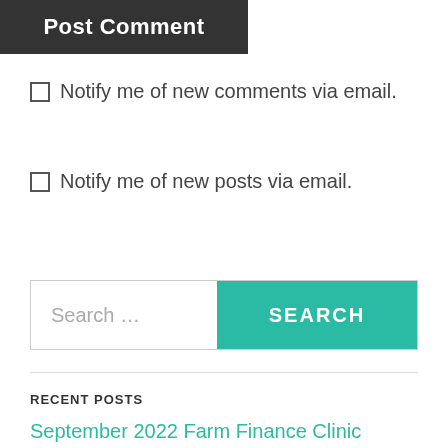Post Comment
Notify me of new comments via email.
Notify me of new posts via email.
Search …
RECENT POSTS
September 2022 Farm Finance Clinic